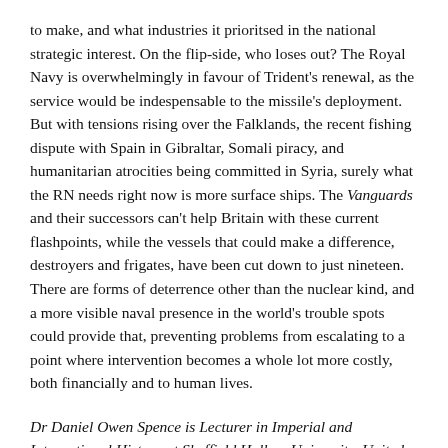to make, and what industries it prioritsed in the national strategic interest. On the flip-side, who loses out? The Royal Navy is overwhelmingly in favour of Trident's renewal, as the service would be indespensable to the missile's deployment. But with tensions rising over the Falklands, the recent fishing dispute with Spain in Gibraltar, Somali piracy, and humanitarian atrocities being committed in Syria, surely what the RN needs right now is more surface ships. The Vanguards and their successors can't help Britain with these current flashpoints, while the vessels that could make a difference, destroyers and frigates, have been cut down to just nineteen. There are forms of deterrence other than the nuclear kind, and a more visible naval presence in the world's trouble spots could provide that, preventing problems from escalating to a point where intervention becomes a whole lot more costly, both financially and to human lives.
Dr Daniel Owen Spence is Lecturer in Imperial and International History at Sheffield Hallam University, United Kingdom, and